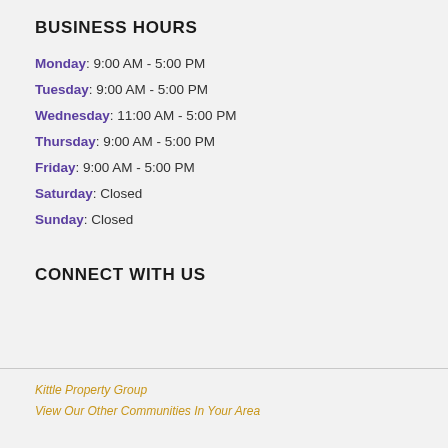BUSINESS HOURS
Monday: 9:00 AM - 5:00 PM
Tuesday: 9:00 AM - 5:00 PM
Wednesday: 11:00 AM - 5:00 PM
Thursday: 9:00 AM - 5:00 PM
Friday: 9:00 AM - 5:00 PM
Saturday: Closed
Sunday: Closed
CONNECT WITH US
Kittle Property Group
View Our Other Communities In Your Area